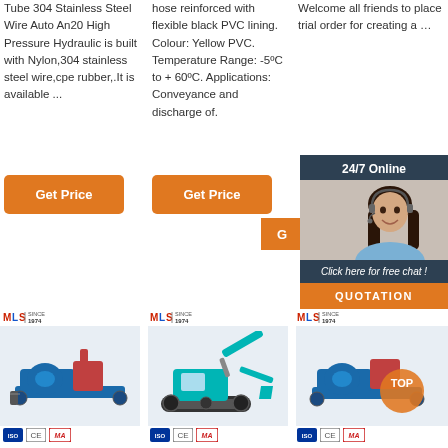Tube 304 Stainless Steel Wire Auto An20 High Pressure Hydraulic is built with Nylon,304 stainless steel wire,cpe rubber,.It is available ...
hose reinforced with flexible black PVC lining. Colour: Yellow PVC. Temperature Range: -5°C to + 60°C. Applications: Conveyance and discharge of.
Welcome all friends to place trial order for creating a …
[Figure (screenshot): 24/7 Online chat widget with female customer service representative wearing headset, dark blue background with orange accent, 'Click here for free chat!' text and QUOTATION button]
Get Price (button, col 1)
Get Price (button, col 2)
[Figure (logo): MLS Since 1974 logo, repeated three times]
[Figure (photo): Blue diesel hydraulic pump/grouting machine on wheeled frame]
[Figure (photo): Teal/green mini excavator]
[Figure (photo): Blue diesel hydraulic pump/grouting machine on wheeled frame with orange TOP overlay badge]
[Figure (logo): ISO, CE, MA certification badges, repeated three times]